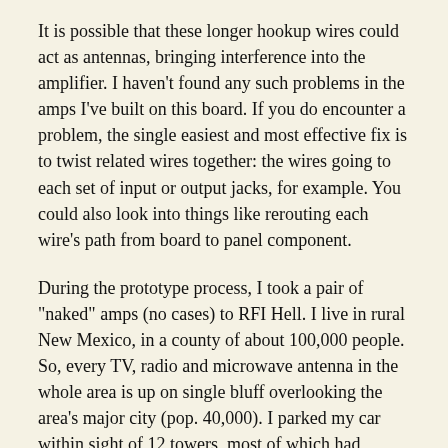It is possible that these longer hookup wires could act as antennas, bringing interference into the amplifier. I haven't found any such problems in the amps I've built on this board. If you do encounter a problem, the single easiest and most effective fix is to twist related wires together: the wires going to each set of input or output jacks, for example. You could also look into things like rerouting each wire's path from board to panel component.
During the prototype process, I took a pair of "naked" amps (no cases) to RFI Hell. I live in rural New Mexico, in a county of about 100,000 people. So, every TV, radio and microwave antenna in the whole area is up on single bluff overlooking the area's major city (pop. 40,000). I parked my car within sight of 12 towers, most of which had multiple antennas on them. All of these antennas were close by — the furthest was probably less than 200 yards away. My car stereo was doing funny things in the middle of this RF bath; if my